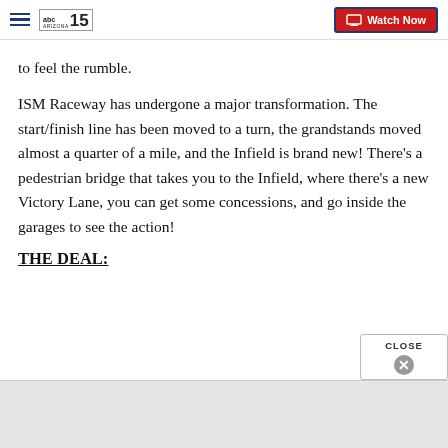abc15 ARIZONA — Watch Now
to feel the rumble.
ISM Raceway has undergone a major transformation. The start/finish line has been moved to a turn, the grandstands moved almost a quarter of a mile, and the Infield is brand new! There's a pedestrian bridge that takes you to the Infield, where there's a new Victory Lane, you can get some concessions, and go inside the garages to see the action!
THE DEAL: